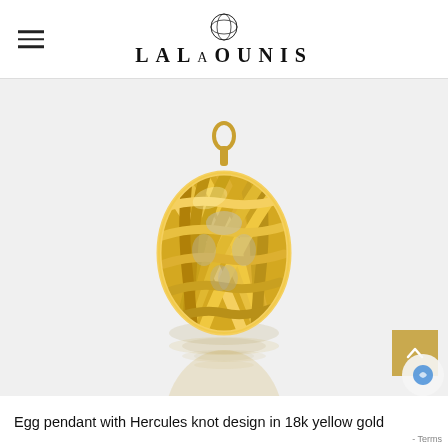LALAOUNIS
[Figure (photo): Gold egg-shaped pendant with Hercules knot lattice design in 18k yellow gold, shown hanging on a chain with a reflection below, against a light grey background.]
Egg pendant with Hercules knot design in 18k yellow gold